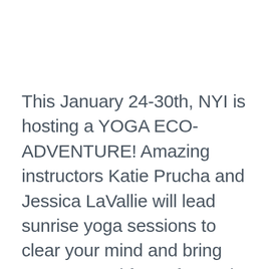This January 24-30th, NYI is hosting a YOGA ECO-ADVENTURE! Amazing instructors Katie Prucha and Jessica LaVallie will lead sunrise yoga sessions to clear your mind and bring you renewed focus for each new day in sunny Nicaragua! The afternoons will be spent exploring the jungle in one of the tallest volcanoes in Nicaragua, learning to surf in the magnificent Pacific waves, and sailing the coastline on a catamaran with your new yoga amigos at sunset! Each and every day holds a